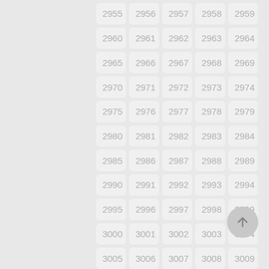[Figure (other): A grid of numbered cells from 2955 to 3009, arranged in 5 columns and 11 rows, each cell showing a light gray rounded rectangle with a number in gray text. A circular floating action button with an upward arrow is visible at the bottom right.]